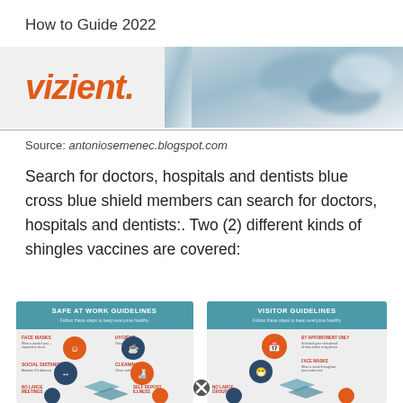How to Guide 2022
[Figure (photo): Vizient logo banner with hands in background image]
Source: antoniosemenec.blogspot.com
Search for doctors, hospitals and dentists blue cross blue shield members can search for doctors, hospitals and dentists:. Two (2) different kinds of shingles vaccines are covered:
[Figure (infographic): Two infographic cards: 'Safe at Work Guidelines' and 'Visitor Guidelines', each showing circular icons with people and safety symbols on a light background with teal headers and colorful chevron shapes]
[Figure (illustration): Close button icon (X in circle) overlapping the two infographic cards]